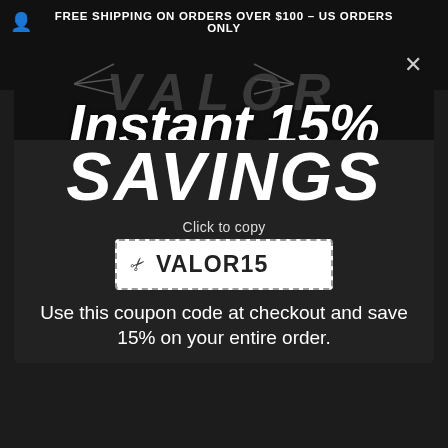FREE SHIPPING ON ORDERS OVER $100 - US ORDERS ONLY
Instant 15% SAVINGS
Click to copy
VALOR15
Use this coupon code at checkout and save 15% on your entire order.
EVENTS
COMPANY INFO
WHO WE ARE
TERMS AND CONDITIONS
PRIVACY POLICY
SHIPPING AND RETURNS
CONTACT US
CANCELLATION POLICY